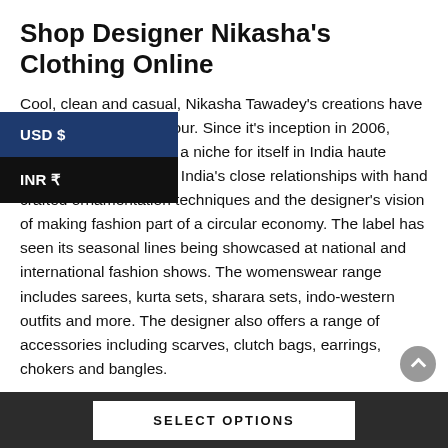Shop Designer Nikasha’s Clothing Online
Cool, clean and casual, Nikasha Tawadey’s creations have a distinctly Indian flavour. Since it’s inception in 2006, Nikasha has distinctly carved a niche for itself in India haute couture. The designs celebrate India’s close relationships with hand crafted ornamentation techniques and the designer’s vision of making fashion part of a circular economy. The label has seen its seasonal lines being showcased at national and international fashion shows. The womenswear range includes sarees, kurta sets, sharara sets, indo-western outfits and more. The designer also offers a range of accessories including scarves, clutch bags, earrings, chokers and bangles.
[Figure (screenshot): Currency selector dropdown showing USD $ (highlighted in blue) and INR ₹ options]
Shop Nikasha clothing
[Figure (other): Scroll-to-top circular grey button with upward arrow]
SELECT OPTIONS